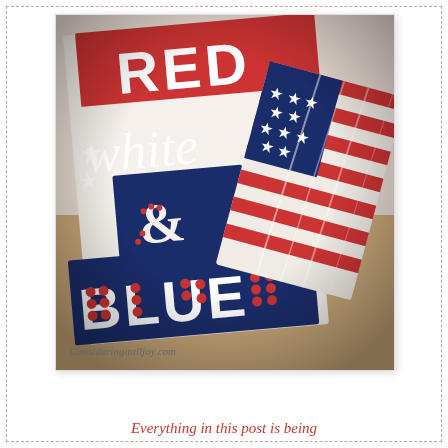[Figure (photo): Patriotic 'Red White & Blue' themed decorative items/fabric/tea towels with American flag motif, stars and stripes pattern, laid on a wooden surface. Watermark reads 'Consideringitalljoy.com']
Everything in this post is being